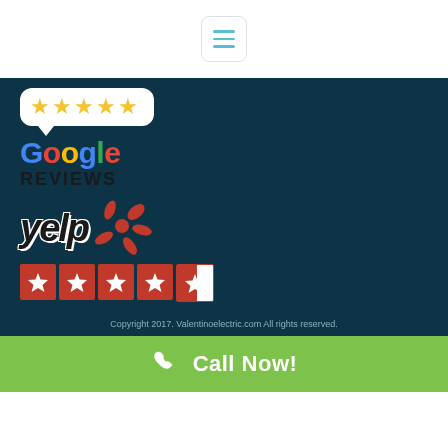[Figure (logo): Hamburger menu button with three teal horizontal lines inside a rounded white box]
[Figure (logo): Google Reviews logo with 5 gold stars in a speech bubble above colorful Google wordmark and bold black REVIEWS text, on dark navy background]
[Figure (logo): Yelp logo with red Yelp burst icon and 4.5 red star rating boxes on dark navy background]
Copyright 2017. Valentinoelectric.com All rights reserved.
[Figure (infographic): Green Call Now! bar with white phone icon and white Call Now! text]